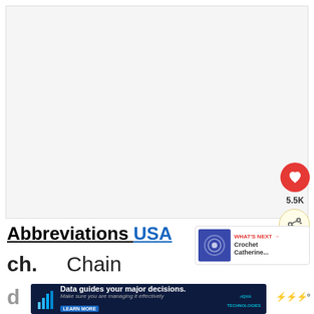[Figure (other): Large white/light gray blank content area (image placeholder) with a red heart/like button showing 5.5K likes and a share button on the right side]
Abbreviations USA
ch.   Chain
d
[Figure (other): What's Next panel showing thumbnail image and text 'Crochet Catherine...' with red arrow label 'WHAT'S NEXT']
[Figure (other): Advertisement banner: 'Data guides your major decisions. Make sure you are managing it effectively' - IQVIA Technologies with Learn More button]